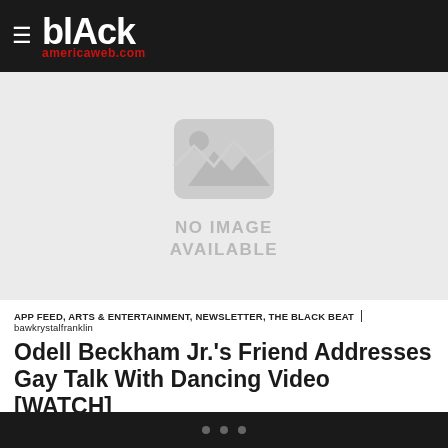blAck americaweb.com
[Figure (photo): No image available placeholder with broken image icon on light grey background]
APP FEED, ARTS & ENTERTAINMENT, NEWSLETTER, THE BLACK BEAT | bawkrystalfranklin
Odell Beckham Jr.'s Friend Addresses Gay Talk With Dancing Video [WATCH]